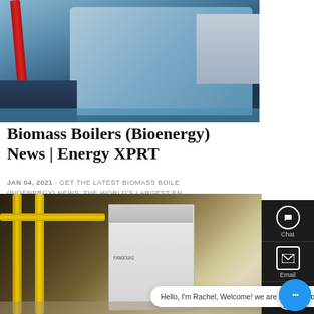[Figure (photo): Industrial biomass boiler equipment in factory setting, with red pipes and large blue-grey machinery]
Biomass Boilers (Bioenergy) News | Energy XPRT
JAN 04, 2021 · GET THE LATEST BIOMASS BOILERS (BIOENERGY) NEWS, THE WORLD'S LARGEST ENERGY INDUSTRY MARKETPLACE AND INFORMATION RESOURCE.
LEARN MORE
[Figure (photo): Industrial boiler room with yellow pipes and white machinery, contact chat overlay visible]
Hello, I'm Rachel, Welcome! we are boiler factory!